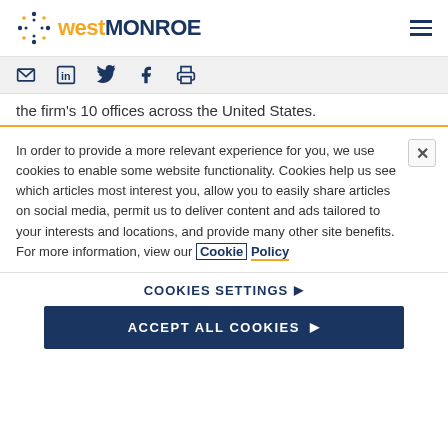[Figure (logo): West Monroe logo with dotted icon and two-tone text]
[Figure (infographic): Social sharing icons: email, LinkedIn, Twitter, Facebook, print]
the firm's 10 offices across the United States.
In order to provide a more relevant experience for you, we use cookies to enable some website functionality. Cookies help us see which articles most interest you, allow you to easily share articles on social media, permit us to deliver content and ads tailored to your interests and locations, and provide many other site benefits. For more information, view our Cookie Policy
COOKIES SETTINGS ▶
ACCEPT ALL COOKIES ▶